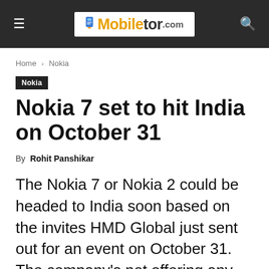Mobiletor.com
Home › Nokia
Nokia
Nokia 7 set to hit India on October 31
By Rohit Panshikar
The Nokia 7 or Nokia 2 could be headed to India soon based on the invites HMD Global just sent out for an event on October 31. The company's not offering any hints as to what to expect, just stating that the occasion